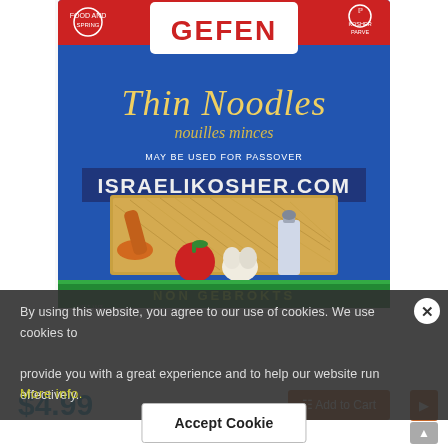[Figure (photo): Gefen Thin Noodles product package on a white background. Blue box with red Gefen logo at top, italic script text 'Thin Noodles / nouilles minces', text 'MAY BE USED FOR PASSOVER', watermark 'ISRAELIKOSHER.COM', window showing golden noodles, orange wooden spoon, tomato, garlic, oil bottle decorations, green ribbon at bottom reading 'NON GEBROKTS'.]
By using this website, you agree to our use of cookies. We use cookies to provide you with a great experience and to help our website run effectively.
More info.
$4.99
Add to Cart
Accept Cookie